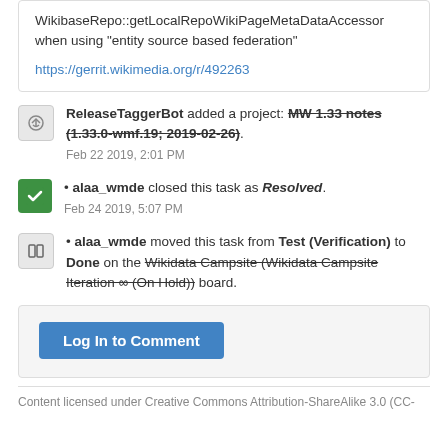WikibaseRepo::getLocalRepoWikiPageMetaDataAccessor when using "entity source based federation"
https://gerrit.wikimedia.org/r/492263
ReleaseTaggerBot added a project: MW 1.33 notes (1.33.0-wmf.19; 2019-02-26). Feb 22 2019, 2:01 PM
alaa_wmde closed this task as Resolved. Feb 24 2019, 5:07 PM
alaa_wmde moved this task from Test (Verification) to Done on the Wikidata Campsite (Wikidata Campsite Iteration ∞ (On Hold)) board.
Log In to Comment
Content licensed under Creative Commons Attribution-ShareAlike 3.0 (CC-